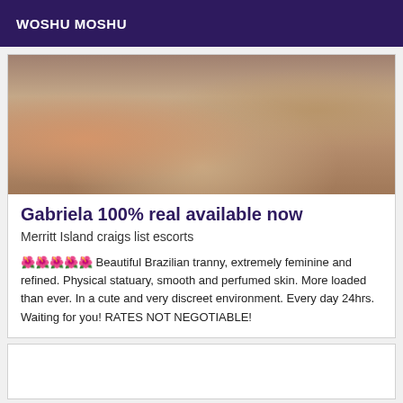WOSHU MOSHU
[Figure (photo): Partial photo showing a person with tattoos on their arm/leg wearing pink/red clothing, hands on a wooden surface, with objects in background]
Gabriela 100% real available now
Merritt Island craigs list escorts
🌺🌺🌺🌺🌺 Beautiful Brazilian tranny, extremely feminine and refined. Physical statuary, smooth and perfumed skin. More loaded than ever. In a cute and very discreet environment. Every day 24hrs. Waiting for you! RATES NOT NEGOTIABLE!